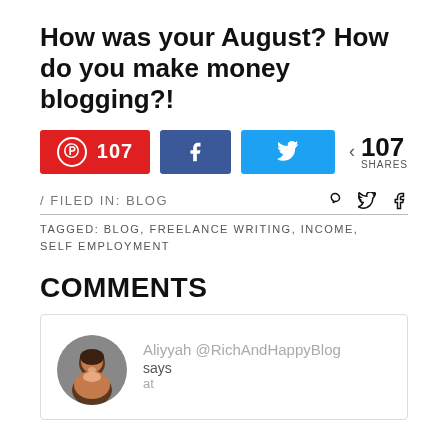How was your August? How do you make money blogging?!
[Figure (infographic): Social share buttons row: Pinterest button showing 107, Facebook button, Twitter button, and total share count of 107 SHARES]
/ FILED IN: BLOG
TAGGED: BLOG, FREELANCE WRITING, INCOME, SELF EMPLOYMENT
COMMENTS
Aliyyah @RichAndHappyBlog says at